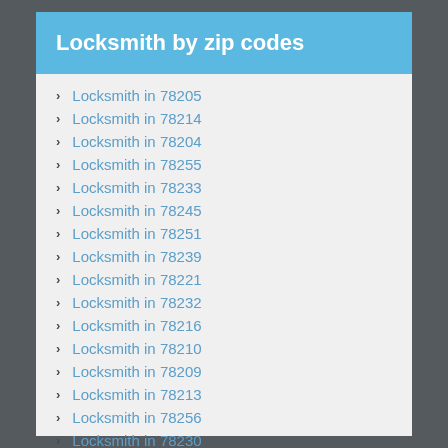Locksmith by zip codes
Locksmith in 78205
Locksmith in 78214
Locksmith in 78204
Locksmith in 78255
Locksmith in 78233
Locksmith in 78245
Locksmith in 78251
Locksmith in 78239
Locksmith in 78221
Locksmith in 78232
Locksmith in 78216
Locksmith in 78210
Locksmith in 78209
Locksmith in 78213
Locksmith in 78256
Locksmith in 78230
Locksmith in 78235